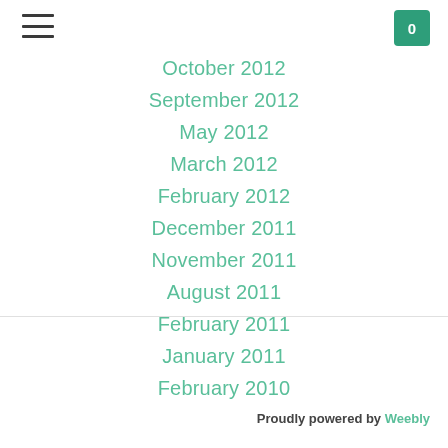[hamburger menu] [cart: 0]
October 2012
September 2012
May 2012
March 2012
February 2012
December 2011
November 2011
August 2011
February 2011
January 2011
February 2010
Proudly powered by Weebly